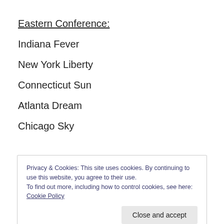Eastern Conference:
Indiana Fever
New York Liberty
Connecticut Sun
Atlanta Dream
Chicago Sky
Privacy & Cookies: This site uses cookies. By continuing to use this website, you agree to their use.
To find out more, including how to control cookies, see here: Cookie Policy
It's probably giving Laimbeer too much credit, but I don't